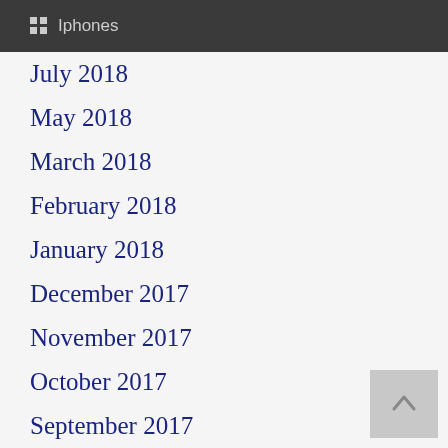Iphones
July 2018
May 2018
March 2018
February 2018
January 2018
December 2017
November 2017
October 2017
September 2017
August 2017
July 2017